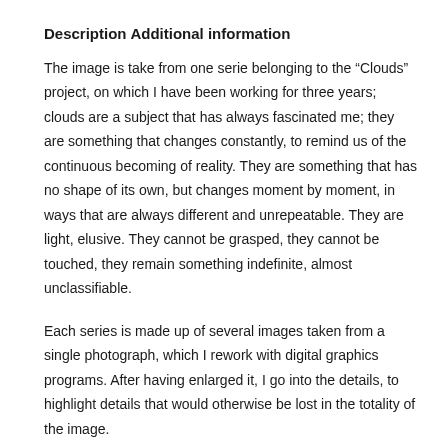Description
Additional information
The image is take from one serie belonging to the “Clouds” project, on which I have been working for three years; clouds are a subject that has always fascinated me; they are something that changes constantly, to remind us of the continuous becoming of reality. They are something that has no shape of its own, but changes moment by moment, in ways that are always different and unrepeatable. They are light, elusive. They cannot be grasped, they cannot be touched, they remain something indefinite, almost unclassifiable.
Each series is made up of several images taken from a single photograph, which I rework with digital graphics programs. After having enlarged it, I go into the details, to highlight details that would otherwise be lost in the totality of the image.